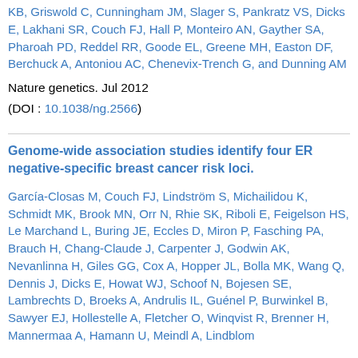KB, Griswold C, Cunningham JM, Slager S, Pankratz VS, Dicks E, Lakhani SR, Couch FJ, Hall P, Monteiro AN, Gayther SA, Pharoah PD, Reddel RR, Goode EL, Greene MH, Easton DF, Berchuck A, Antoniou AC, Chenevix-Trench G, and Dunning AM
Nature genetics. Jul 2012
(DOI : 10.1038/ng.2566)
Genome-wide association studies identify four ER negative-specific breast cancer risk loci.
García-Closas M, Couch FJ, Lindström S, Michailidou K, Schmidt MK, Brook MN, Orr N, Rhie SK, Riboli E, Feigelson HS, Le Marchand L, Buring JE, Eccles D, Miron P, Fasching PA, Brauch H, Chang-Claude J, Carpenter J, Godwin AK, Nevanlinna H, Giles GG, Cox A, Hopper JL, Bolla MK, Wang Q, Dennis J, Dicks E, Howat WJ, Schoof N, Bojesen SE, Lambrechts D, Broeks A, Andrulis IL, Guénel P, Burwinkel B, Sawyer EJ, Hollestelle A, Fletcher O, Winqvist R, Brenner H, Mannermaa A, Hamann U, Meindl A, Lindblom